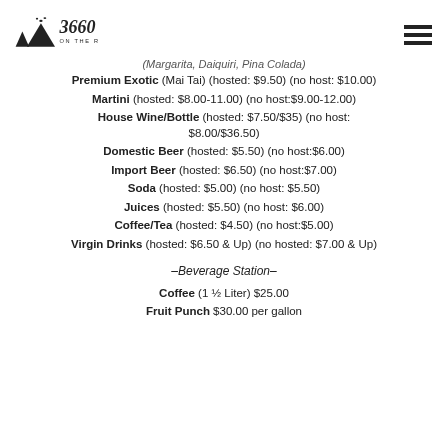3660 ON THE RISE
(Margarita, Daiquiri, Pina Colada)
Premium Exotic (Mai Tai) (hosted: $9.50) (no host: $10.00)
Martini (hosted: $8.00-11.00) (no host:$9.00-12.00)
House Wine/Bottle (hosted: $7.50/$35) (no host: $8.00/$36.50)
Domestic Beer (hosted: $5.50) (no host:$6.00)
Import Beer (hosted: $6.50) (no host:$7.00)
Soda (hosted: $5.00) (no host: $5.50)
Juices (hosted: $5.50) (no host: $6.00)
Coffee/Tea (hosted: $4.50) (no host:$5.00)
Virgin Drinks (hosted: $6.50 & Up) (no hosted: $7.00 & Up)
-Beverage Station-
Coffee (1 ½ Liter) $25.00
Fruit Punch $30.00 per gallon